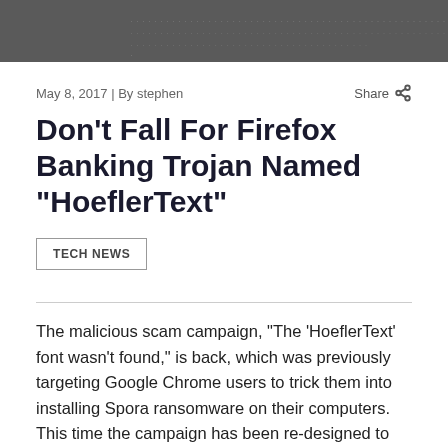[Figure (screenshot): Blurred/pixelated header image with dark gray background and dot patterns]
May 8, 2017 | By stephen
Share
Don’t Fall For Firefox Banking Trojan Named “HoeflerText”
TECH NEWS
The malicious scam campaign, “The ‘HoeflerText’ font wasn’t found,” is back, which was previously targeting Google Chrome users to trick them into installing Spora ransomware on their computers. This time the campaign has been re-designed to target Mozilla Firefox users with a banking trojan, called Zeus Panda, says Kafeine, a security researcher at Proofpoint.